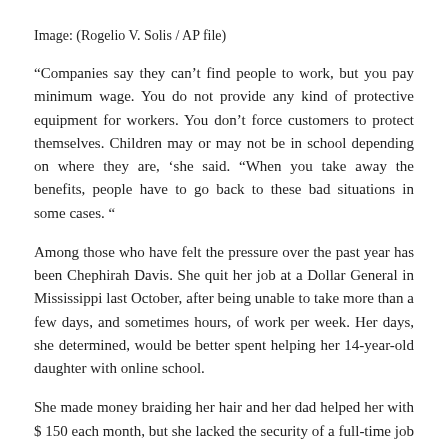Image: (Rogelio V. Solis / AP file)
“Companies say they can’t find people to work, but you pay minimum wage. You do not provide any kind of protective equipment for workers. You don’t force customers to protect themselves. Children may or may not be in school depending on where they are, ‘she said. “When you take away the benefits, people have to go back to these bad situations in some cases. “
Among those who have felt the pressure over the past year has been Chephirah Davis. She quit her job at a Dollar General in Mississippi last October, after being unable to take more than a few days, and sometimes hours, of work per week. Her days, she determined, would be better spent helping her 14-year-old daughter with online school.
She made money braiding her hair and her dad helped her with $ 150 each month, but she lacked the security of a full-time job and soon began to worry about how which she would afford the Internet necessary for her daughter’s work. If a client had to choose between paying her bills or a